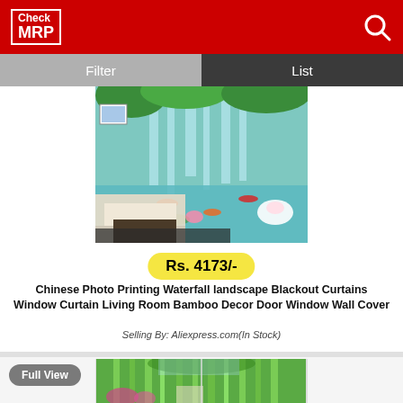[Figure (logo): CheckMRP logo — red background, white border box with 'Check' and 'MRP' in white text]
[Figure (screenshot): Search/magnifier icon in top right of header]
Filter
List
[Figure (photo): Product photo: living room with white sofa, waterfall landscape blackout curtain on wall showing waterfall, koi fish, lotus flowers, bamboo]
Rs. 4173/-
Chinese Photo Printing Waterfall landscape Blackout Curtains Window Curtain Living Room Bamboo Decor Door Window Wall Cover
Selling By: Aliexpress.com(In Stock)
Full View
[Figure (photo): Product photo: bamboo forest curtain with green bamboo trees, flowers, pathway visible through window/curtain panels]